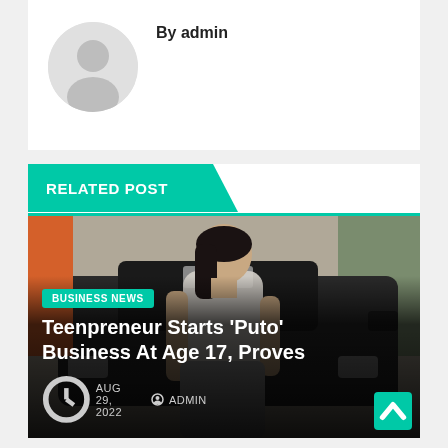By admin
[Figure (photo): Default avatar placeholder circle with person silhouette]
RELATED POST
[Figure (photo): Young woman in white tank top standing in front of a dark SUV on a street]
BUSINESS NEWS
Teenpreneur Starts 'Puto' Business At Age 17, Proves
AUG 29, 2022   ADMIN